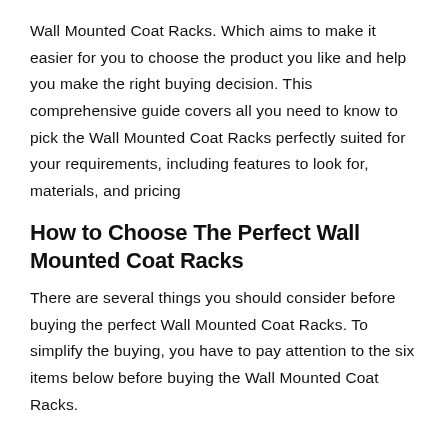Wall Mounted Coat Racks. Which aims to make it easier for you to choose the product you like and help you make the right buying decision. This comprehensive guide covers all you need to know to pick the Wall Mounted Coat Racks perfectly suited for your requirements, including features to look for, materials, and pricing
How to Choose The Perfect Wall Mounted Coat Racks
There are several things you should consider before buying the perfect Wall Mounted Coat Racks. To simplify the buying, you have to pay attention to the six items below before buying the Wall Mounted Coat Racks.